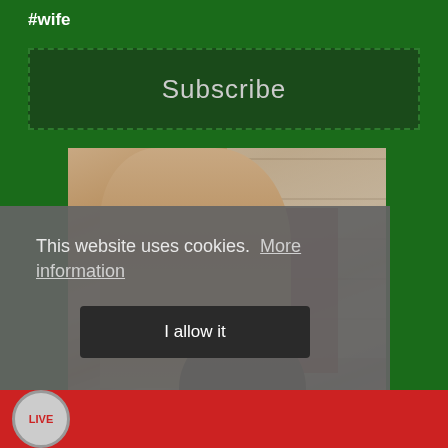#wife
Subscribe
[Figure (photo): Two people in a bathroom/shower setting]
This website uses cookies.  More information
I allow it
[Figure (photo): Bottom strip with LIVE badge on red background]